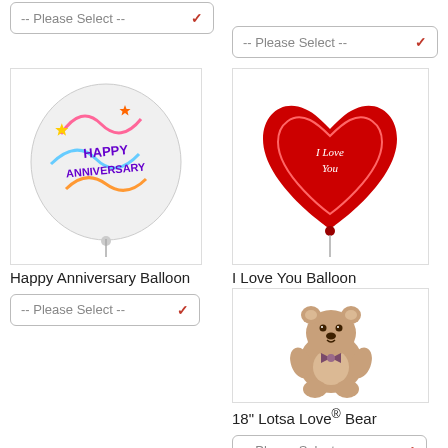-- Please Select --
-- Please Select --
[Figure (photo): Happy Anniversary round foil balloon with colorful decorations]
[Figure (photo): I Love You red heart-shaped foil balloon]
Happy Anniversary Balloon
I Love You Balloon
-- Please Select --
-- Please Select --
[Figure (photo): 18 inch Lotsa Love teddy bear, light brown, sitting]
18" Lotsa Love® Bear
-- Please Select --